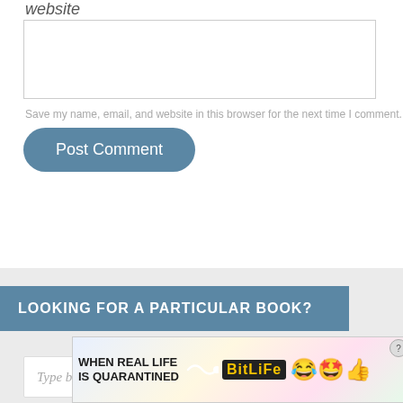website
(text input box)
Save my name, email, and website in this browser for the next time I comment.
Post Comment
LOOKING FOR A PARTICULAR BOOK?
Type book keywords here...
[Figure (screenshot): BitLife advertisement banner: 'WHEN REAL LIFE IS QUARANTINED' with BitLife logo and emoji characters]
[Figure (infographic): Scroll-to-top button with upward chevron arrow]